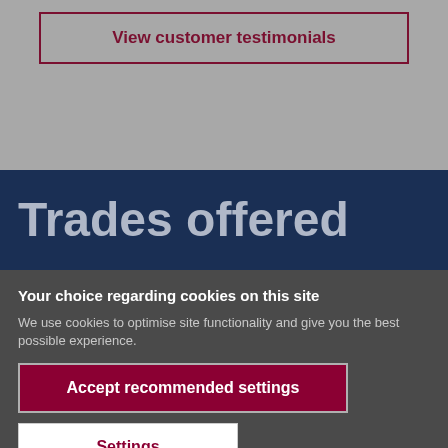View customer testimonials
Trades offered
Your choice regarding cookies on this site
We use cookies to optimise site functionality and give you the best possible experience.
Accept recommended settings
Settings